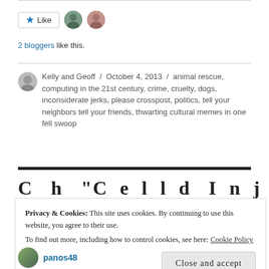[Figure (other): Like button with star icon and two blogger avatar photos]
2 bloggers like this.
Kelly and Geoff / October 4, 2013 / animal rescue, computing in the 21st century, crime, cruelty, dogs, inconsiderate jerks, please crosspost, politics, tell your neighbors tell your friends, thwarting cultural memes in one fell swoop
Privacy & Cookies: This site uses cookies. By continuing to use this website, you agree to their use.
To find out more, including how to control cookies, see here: Cookie Policy
Close and accept
panos48